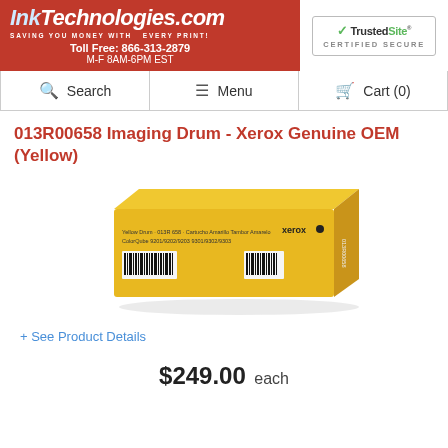InkTechnologies.com - SAVING YOU MONEY WITH EVERY PRINT! Toll Free: 866-313-2879 M-F 8AM-6PM EST | TrustedSite CERTIFIED SECURE
Search | Menu | Cart (0)
013R00658 Imaging Drum - Xerox Genuine OEM (Yellow)
[Figure (photo): Product photo of a yellow Xerox imaging drum (013R00658) in its yellow retail box, shown at an angle with barcode visible on the side.]
+ See Product Details
$249.00 each